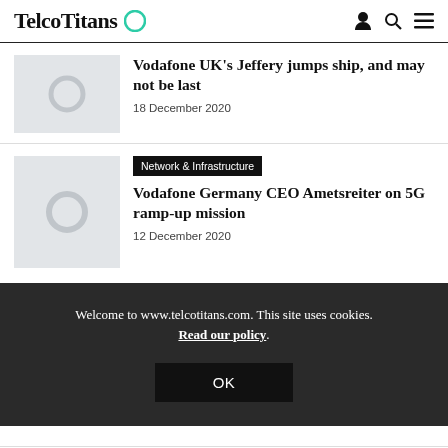TelcoTitans
[Figure (illustration): Thumbnail placeholder with circle icon for first article]
Vodafone UK's Jeffery jumps ship, and may not be last
18 December 2020
[Figure (illustration): Thumbnail placeholder with circle icon for second article]
Network & Infrastructure
Vodafone Germany CEO Ametsreiter on 5G ramp-up mission
12 December 2020
Welcome to www.telcotitans.com. This site uses cookies. Read our policy.
OK